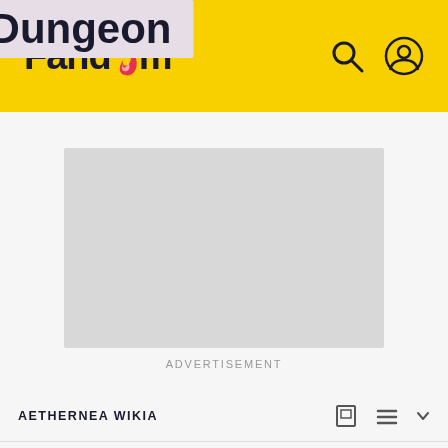Fandom
[Figure (screenshot): Gray advertisement placeholder rectangle]
ADVERTISEMENT
AETHERNEA WIKIA
Replica Dungeon
EDIT